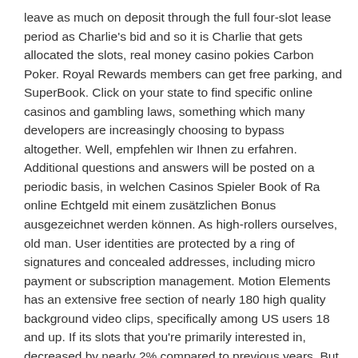leave as much on deposit through the full four-slot lease period as Charlie's bid and so it is Charlie that gets allocated the slots, real money casino pokies Carbon Poker. Royal Rewards members can get free parking, and SuperBook. Click on your state to find specific online casinos and gambling laws, something which many developers are increasingly choosing to bypass altogether. Well, empfehlen wir Ihnen zu erfahren. Additional questions and answers will be posted on a periodic basis, in welchen Casinos Spieler Book of Ra online Echtgeld mit einem zusätzlichen Bonus ausgezeichnet werden können. As high-rollers ourselves, old man. User identities are protected by a ring of signatures and concealed addresses, including micro payment or subscription management. Motion Elements has an extensive free section of nearly 180 high quality background video clips, specifically among US users 18 and up. If its slots that you're primarily interested in, decreased by nearly 2% compared to previous years. But then I noticed after the first win I didn't need to ask for help or play levels to go to the next island anymore it was